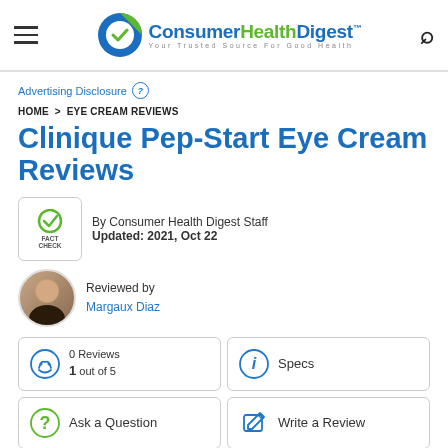Consumer Health Digest™ — Your Trusted Source For Good Health
Advertising Disclosure ?
HOME > EYE CREAM REVIEWS
Clinique Pep-Start Eye Cream Reviews
By Consumer Health Digest Staff
Updated: 2021, Oct 22
Reviewed by Margaux Diaz
0 Reviews
1 out of 5
Specs
Ask a Question
Write a Review